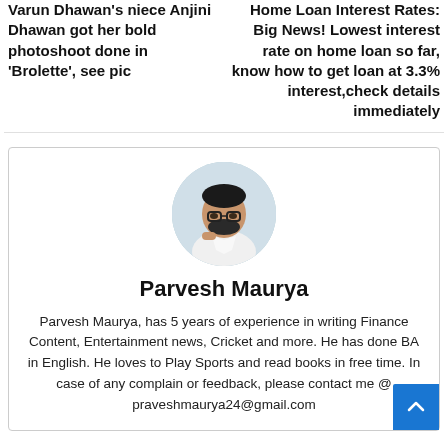Varun Dhawan's niece Anjini Dhawan got her bold photoshoot done in 'Brolette', see pic
Home Loan Interest Rates: Big News! Lowest interest rate on home loan so far, know how to get loan at 3.3% interest,check details immediately
[Figure (photo): Headshot photo of Parvesh Maurya, a man with glasses and beard wearing a white shirt]
Parvesh Maurya
Parvesh Maurya, has 5 years of experience in writing Finance Content, Entertainment news, Cricket and more. He has done BA in English. He loves to Play Sports and read books in free time. In case of any complain or feedback, please contact me @ praveshmaurya24@gmail.com